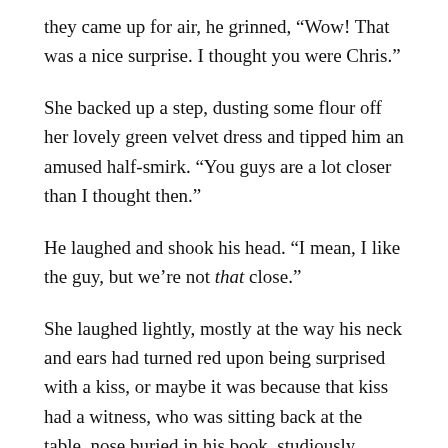they came up for air, he grinned, “Wow! That was a nice surprise. I thought you were Chris.”
She backed up a step, dusting some flour off her lovely green velvet dress and tipped him an amused half-smirk. “You guys are a lot closer than I thought then.”
He laughed and shook his head. “I mean, I like the guy, but we’re not that close.”
She laughed lightly, mostly at the way his neck and ears had turned red upon being surprised with a kiss, or maybe it was because that kiss had a witness, who was sitting back at the table, nose buried in his book, studiously pretending he didn’t